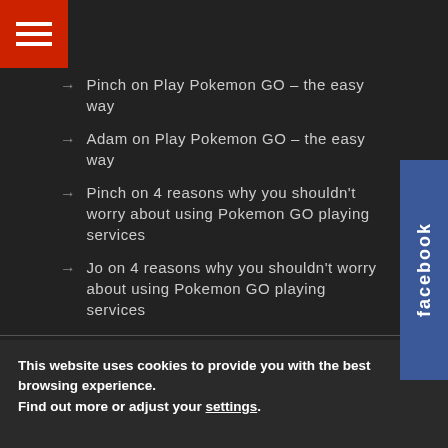[Figure (other): Red hamburger menu button in top left corner]
[Figure (other): Facebook tab on right side, blue with rotated 'facebook' text]
Pinch on Play Pokemon GO – the easy way
Adam on Play Pokemon GO – the easy way
Pinch on 4 reasons why you shouldn't worry about using Pokemon GO playing services
Jo on 4 reasons why you shouldn't worry about using Pokemon GO playing services
Follow us on
[Figure (other): Social media icons: Facebook, Twitter, Pinterest, Instagram]
This website uses cookies to provide you with the best browsing experience.
Find out more or adjust your settings.
Accept